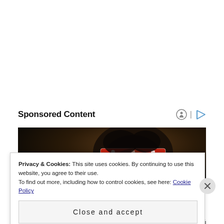Sponsored Content
[Figure (photo): Dark photo of a person wearing a decorative headband/headpiece, mostly showing the top of their head and hair against a dark background]
Privacy & Cookies: This site uses cookies. By continuing to use this website, you agree to their use.
To find out more, including how to control cookies, see here: Cookie Policy
Close and accept